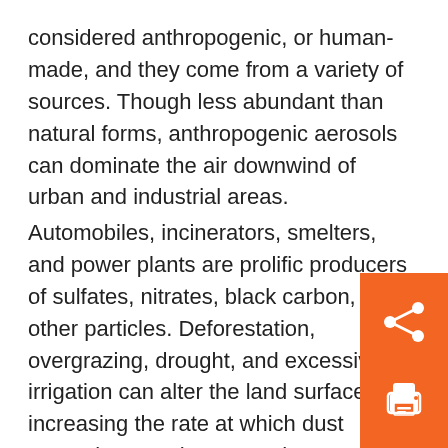considered anthropogenic, or human-made, and they come from a variety of sources. Though less abundant than natural forms, anthropogenic aerosols can dominate the air downwind of urban and industrial areas.
Automobiles, incinerators, smelters, and power plants are prolific producers of sulfates, nitrates, black carbon, and other particles. Deforestation, overgrazing, drought, and excessive irrigation can alter the land surface, increasing the rate at which dust aerosols enter the atmosphere. Even indoors, cigarettes, cooking stoves, fireplaces, and candles are sources of aerosols.